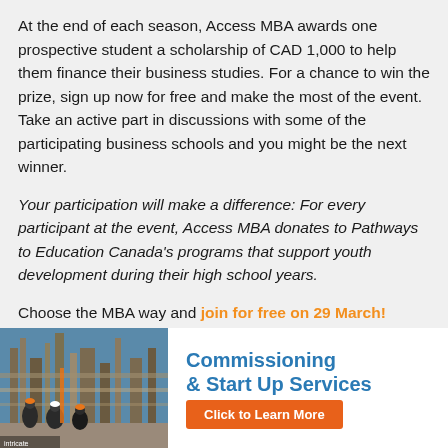At the end of each season, Access MBA awards one prospective student a scholarship of CAD 1,000 to help them finance their business studies. For a chance to win the prize, sign up now for free and make the most of the event. Take an active part in discussions with some of the participating business schools and you might be the next winner.
Your participation will make a difference: For every participant at the event, Access MBA donates to Pathways to Education Canada's programs that support youth development during their high school years.
Choose the MBA way and join for free on 29 March!
[Figure (photo): Industrial/commissioning site photo showing workers in hard hats with industrial equipment and structures in background]
Commissioning & Start Up Services — Click to Learn More (advertisement banner)